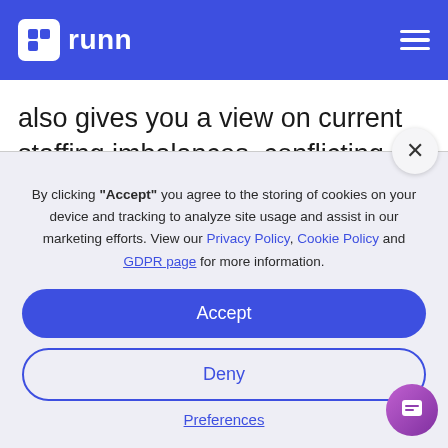runn
also gives you a view on current staffing imbalances, conflicting project priorities and dependencies.
By clicking “Accept” you agree to the storing of cookies on your device and tracking to analyze site usage and assist in our marketing efforts. View our Privacy Policy, Cookie Policy and GDPR page for more information.
Accept
Deny
Preferences